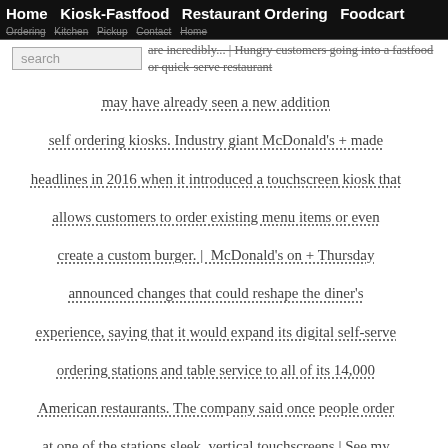Home  Kiosk-Fastfood  Restaurant Ordering  Foodcart
… Ordering Kitchen Pickup Contact Home
are incredibly… | Hungry customers going into a fastfood or quick-serve restaurant may have already seen a new addition self ordering kiosks. Industry giant McDonald's + made headlines in 2016 when it introduced a touchscreen kiosk that allows customers to order existing menu items or even create a custom burger. | McDonald's on + Thursday announced changes that could reshape the diner's experience, saying that it would expand its digital self-serve ordering stations and table service to all of its 14,000 American restaurants. The company said once people order at one of the stations sleek, vertical touchscreens | See my picture. I've used the touch screen here at least 150 times! Please don't get me started on why that is. Anyway, I think I'm qualified to answer. * First, they are huge and double + sided. My McDonald's has two of them so they can service fou | Abstract Automation has gained importance in every field of